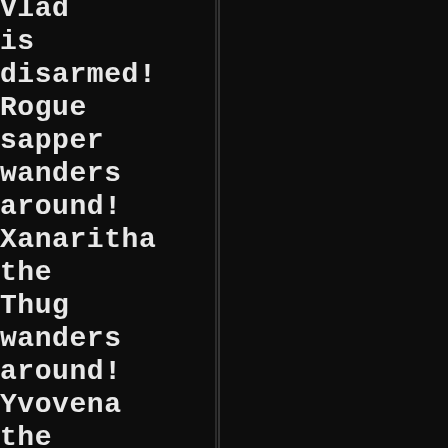Vlad is disarmed! Rogue sapper wanders around! Xanaritha the Thug wanders around! Yvovena the Guard is pinned to the ground. Paradigmas de la